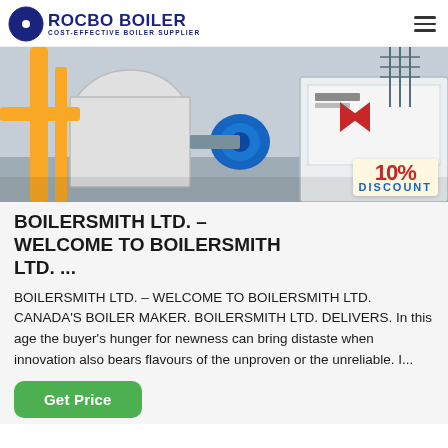ROCBO BOILER — COST-EFFECTIVE BOILER SUPPLIER
[Figure (photo): Industrial boiler equipment photo showing yellow pipes, blue motor, and a white boiler unit with Chinese text signage, with a 10% DISCOUNT badge overlay]
BOILERSMITH LTD. – WELCOME TO BOILERSMITH LTD. ...
BOILERSMITH LTD. – WELCOME TO BOILERSMITH LTD. CANADA'S BOILER MAKER. BOILERSMITH LTD. DELIVERS. In this age the buyer's hunger for newness can bring distaste when innovation also bears flavours of the unproven or the unreliable. I...